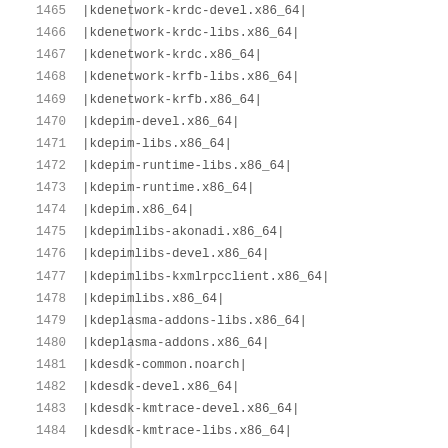| # | package |
| --- | --- |
| 1465 | |kdenetwork-krdc-devel.x86_64| |
| 1466 | |kdenetwork-krdc-libs.x86_64| |
| 1467 | |kdenetwork-krdc.x86_64| |
| 1468 | |kdenetwork-krfb-libs.x86_64| |
| 1469 | |kdenetwork-krfb.x86_64| |
| 1470 | |kdepim-devel.x86_64| |
| 1471 | |kdepim-libs.x86_64| |
| 1472 | |kdepim-runtime-libs.x86_64| |
| 1473 | |kdepim-runtime.x86_64| |
| 1474 | |kdepim.x86_64| |
| 1475 | |kdepimlibs-akonadi.x86_64| |
| 1476 | |kdepimlibs-devel.x86_64| |
| 1477 | |kdepimlibs-kxmlrpcclient.x86_64| |
| 1478 | |kdepimlibs.x86_64| |
| 1479 | |kdeplasma-addons-libs.x86_64| |
| 1480 | |kdeplasma-addons.x86_64| |
| 1481 | |kdesdk-common.noarch| |
| 1482 | |kdesdk-devel.x86_64| |
| 1483 | |kdesdk-kmtrace-devel.x86_64| |
| 1484 | |kdesdk-kmtrace-libs.x86_64| |
| 1485 | |kdesdk-kmtrace.x86_64| |
| 1486 | |kdesdk-kompare-devel.x86_64| |
| 1487 | |kdesdk-kompare-libs.x86_64| |
| 1488 | |kdesdk-kompare.x86_64| |
| 1489 | |kdesdk-okteta-devel.x86_64| |